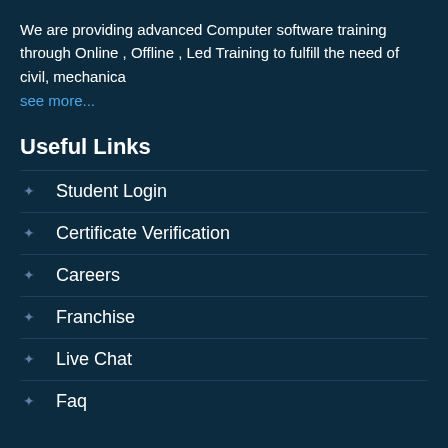We are providing advanced Computer software training through Online , Offline , Led Training to fulfill the need of civil, mechanica
see more...
Useful Links
Student Login
Certificate Verification
Careers
Franchise
Live Chat
Faq
Newsletter
Subscribe to get Latest News, Offer and connect With Us.